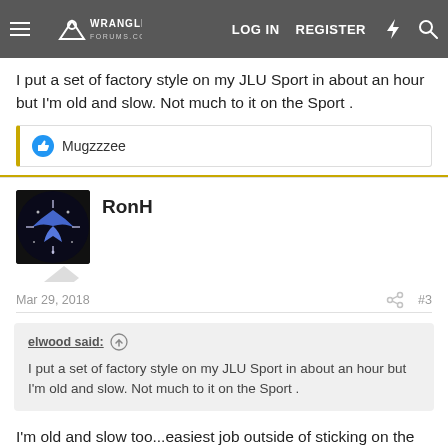Wrangler Forums — LOG IN  REGISTER
I put a set of factory style on my JLU Sport in about an hour but I'm old and slow. Not much to it on the Sport .
Mugzzzee
RonH
Mar 29, 2018  #3
elwood said: ↑
I put a set of factory style on my JLU Sport in about an hour but I'm old and slow. Not much to it on the Sport .
I'm old and slow too...easiest job outside of sticking on the